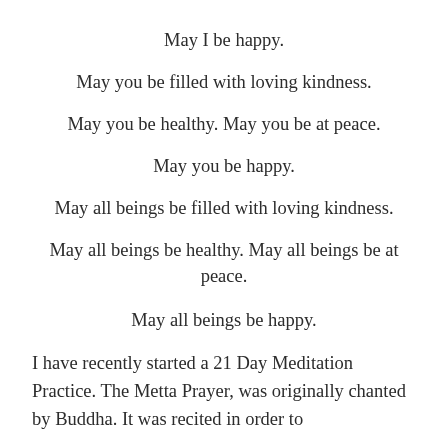May I be happy.
May you be filled with loving kindness.
May you be healthy. May you be at peace.
May you be happy.
May all beings be filled with loving kindness.
May all beings be healthy. May all beings be at peace.
May all beings be happy.
I have recently started a 21 Day Meditation Practice. The Metta Prayer, was originally chanted by Buddha. It was recited in order to